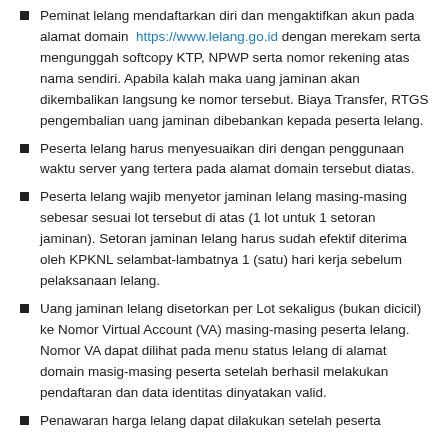Peminat lelang mendaftarkan diri dan mengaktifkan akun pada alamat domain https://www.lelang.go.id dengan merekam serta mengunggah softcopy KTP, NPWP serta nomor rekening atas nama sendiri. Apabila kalah maka uang jaminan akan dikembalikan langsung ke nomor tersebut. Biaya Transfer, RTGS pengembalian uang jaminan dibebankan kepada peserta lelang.
Peserta lelang harus menyesuaikan diri dengan penggunaan waktu server yang tertera pada alamat domain tersebut diatas.
Peserta lelang wajib menyetor jaminan lelang masing-masing sebesar sesuai lot tersebut di atas (1 lot untuk 1 setoran jaminan). Setoran jaminan lelang harus sudah efektif diterima oleh KPKNL selambat-lambatnya 1 (satu) hari kerja sebelum pelaksanaan lelang.
Uang jaminan lelang disetorkan per Lot sekaligus (bukan dicicil) ke Nomor Virtual Account (VA) masing-masing peserta lelang. Nomor VA dapat dilihat pada menu status lelang di alamat domain masig-masing peserta setelah berhasil melakukan pendaftaran dan data identitas dinyatakan valid.
Penawaran harga lelang dapat dilakukan setelah peserta